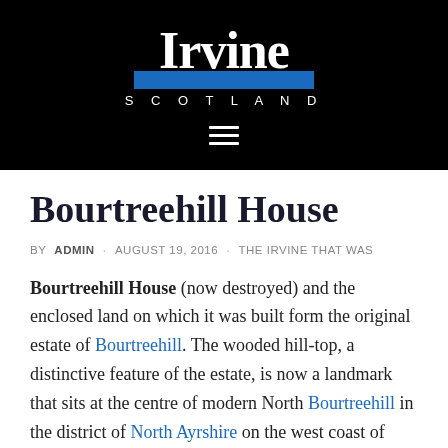[Figure (logo): Irvine Scotland website logo: white text 'Irvine' with blue bar beneath, 'SCOTLAND' in spaced caps, on black background, with hamburger menu icon below]
Bourtreehill House
BY ADMIN · AUGUST 19, 2016 · THE IRVINE THAT WAS
Bourtreehill House (now destroyed) and the enclosed land on which it was built form the original estate of Bourtreehill. The wooded hill-top, a distinctive feature of the estate, is now a landmark that sits at the centre of modern North Bourtreehill in the district of North Ayrshire on the west coast of Scotland.